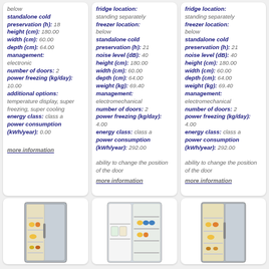below standalone cold preservation (h): 18 height (cm): 180.00 width (cm): 60.00 depth (cm): 64.00 management: electronic number of doors: 2 power freezing (kg/day): 10.00 additional options: temperature display, super freezing, super cooling energy class: class a power consumption (kWh/year): 0.00 more information
fridge location: standing separately freezer location: below standalone cold preservation (h): 21 noise level (dB): 40 height (cm): 180.00 width (cm): 60.00 depth (cm): 64.00 weight (kg): 69.40 management: electromechanical number of doors: 2 power freezing (kg/day): 4.00 energy class: class a power consumption (kWh/year): 292.00 ability to change the position of the door more information
fridge location: standing separately freezer location: below standalone cold preservation (h): 21 noise level (dB): 40 height (cm): 180.00 width (cm): 60.00 depth (cm): 64.00 weight (kg): 69.40 management: electromechanical number of doors: 2 power freezing (kg/day): 4.00 energy class: class a power consumption (kWh/year): 292.00 ability to change the position of the door more information
[Figure (photo): Silver upright freezer/refrigerator with open door showing interior shelves and food items]
[Figure (photo): White open refrigerator with visible shelves and food items]
[Figure (photo): Silver upright refrigerator with open door showing interior shelves and food items]